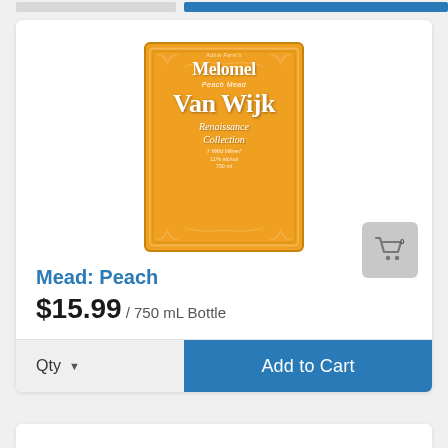[Figure (illustration): Product bottle label for Van Wijk Melomel Peach Mead, Renaissance Collection. Orange background with decorative border, gothic/blackletter typography in white.]
Mead: Peach
$15.99 / 750 mL Bottle
Qty  ▼   Add to Cart